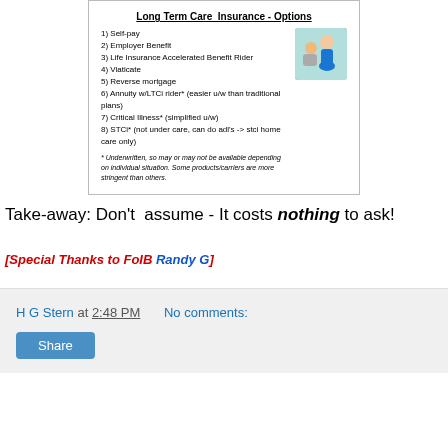[Figure (infographic): Slide card titled 'Long Term Care Insurance - Options' listing 8 options with a photo of a nurse and patient, and an italicized footnote about underwriting.]
Take-away: Don't assume - It costs nothing to ask!
[Special Thanks to FoIB Randy G]
H G Stern at 2:48 PM   No comments:   Share